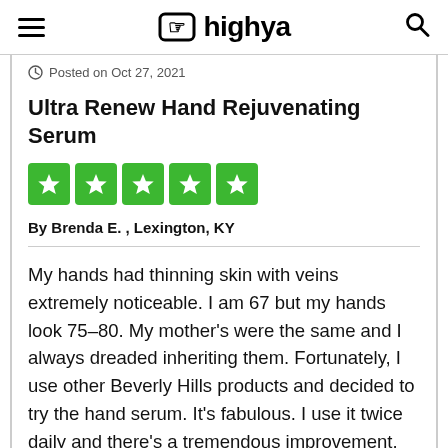highya
Posted on Oct 27, 2021
Ultra Renew Hand Rejuvenating Serum
[Figure (other): 5-star rating shown as 5 green star boxes]
By Brenda E. , Lexington, KY
My hands had thinning skin with veins extremely noticeable. I am 67 but my hands look 75–80. My mother's were the same and I always dreaded inheriting them. Fortunately, I use other Beverly Hills products and decided to try the hand serum. It's fabulous. I use it twice daily and there's a tremendous improvement. The skin